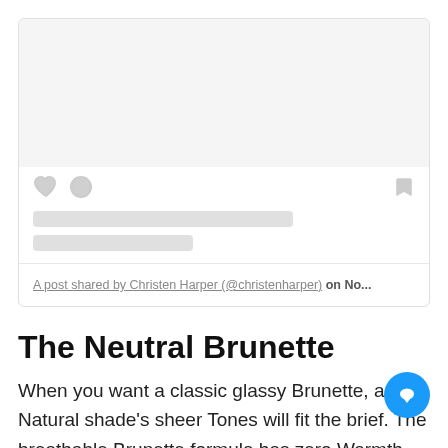[Figure (screenshot): Social media post card placeholder with gray image area, heart and comment icons, bookmark icon, two gray placeholder text lines, and a caption reading 'A post shared by Christen Harper (@christenharper) on No...']
The Neutral Brunette
When you want a classic glassy Brunette, a Natural shade's sheer Tones will fit the brief. The breathable Brunette formula has zero Warmth just uncomp rich, deep neutral hues for a smooth, dewy finish.